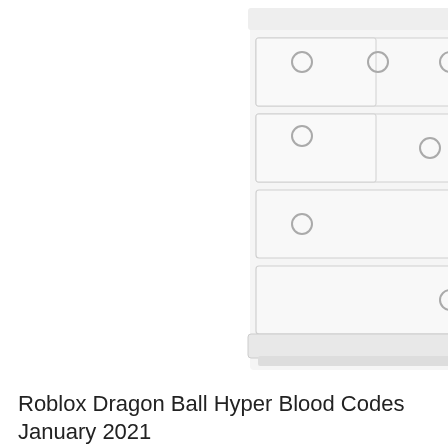[Figure (illustration): Illustration of a white dresser/chest of drawers with multiple drawers, shown from a front-left perspective. The drawers have circular knobs. The image is partially cropped at the top.]
Roblox Dragon Ball Hyper Blood Codes January 2021
[Figure (illustration): Illustration of a white dresser/chest of drawers with multiple drawers, shown from a front-left perspective. The drawers have circular knobs. The image is partially cropped at the bottom.]